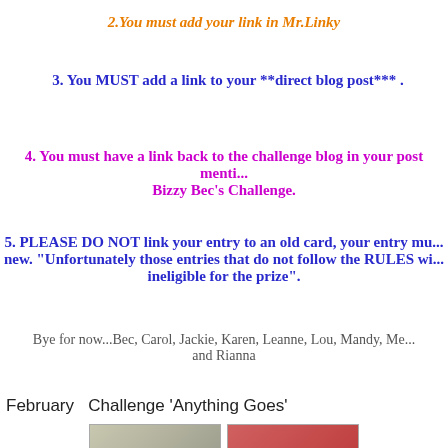2.You must add your link in Mr.Linky
3. You MUST add a link to your **direct blog post*** .
4. You must have a link back to the challenge blog in your post menti... Bizzy Bec's Challenge.
5. PLEASE DO NOT link your entry to an old card, your entry mu... new. "Unfortunately those entries that do not follow the RULES wi... ineligible for the prize".
Bye for now...Bec,  Carol, Jackie,  Karen, Leanne, Lou,  Mandy, Me... and Rianna
February  Challenge 'Anything Goes'
[Figure (photo): Two small thumbnail photos at the bottom of the page]